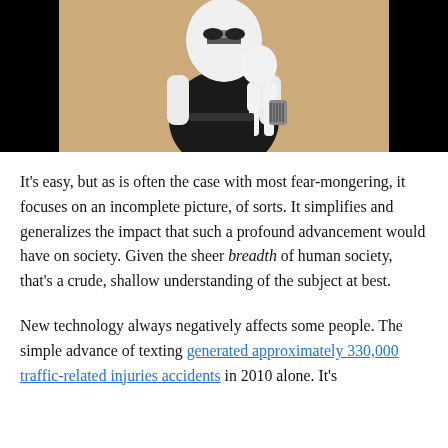[Figure (photo): A stormtrooper costume/figure set against a beige/tan background, with black areas flanking the central image. The figure appears to be carrying or interacting with another figure.]
It’s easy, but as is often the case with most fear-mongering, it focuses on an incomplete picture, of sorts. It simplifies and generalizes the impact that such a profound advancement would have on society. Given the sheer breadth of human society, that’s a crude, shallow understanding of the subject at best.
New technology always negatively affects some people. The simple advance of texting generated approximately 330,000 traffic-related injuries accidents in 2010 alone. It’s